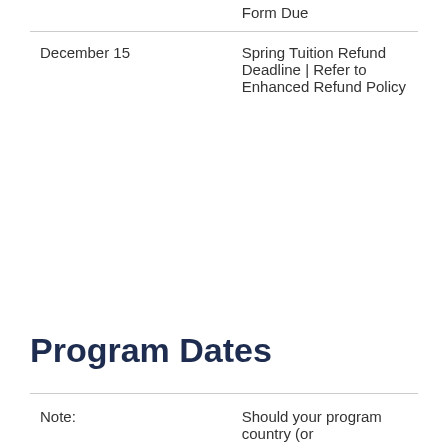|  | Form Due |
| --- | --- |
| December 15 | Spring Tuition Refund Deadline | Refer to Enhanced Refund Policy |
Program Dates
| Note: | Should your program country (or |
| --- | --- |